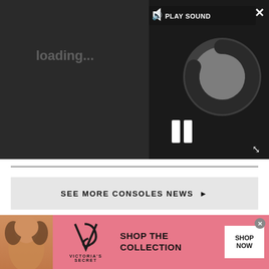[Figure (screenshot): Video player with dark background, loading spinner (circular gray spinner), pause button (two vertical bars), play sound button in top area, close X button top right, expand arrows bottom right]
SEE MORE CONSOLES NEWS ▶
MORE ABOUT...
LATEST
[Figure (screenshot): Thumbnail image: dark blue/red fantasy art scene with figure]
[Figure (screenshot): Thumbnail image: LG OLED TV product shot on tan/beige background]
[Figure (screenshot): Victoria's Secret advertisement banner: model on left, VS logo, SHOP THE COLLECTION text, SHOP NOW button]